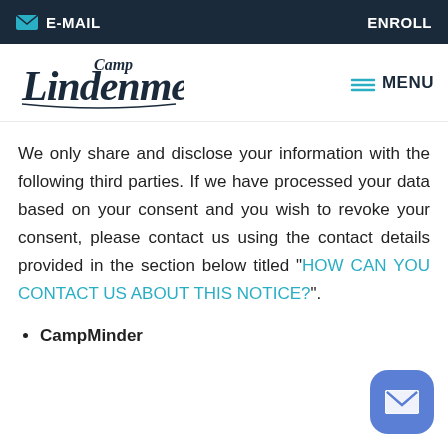E-MAIL   ENROLL
[Figure (logo): Camp Lindenmere logo in navy blue script font]
We only share and disclose your information with the following third parties. If we have processed your data based on your consent and you wish to revoke your consent, please contact us using the contact details provided in the section below titled “HOW CAN YOU CONTACT US ABOUT THIS NOTICE?”.
CampMinder